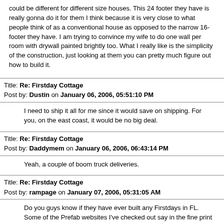could be different for different size houses.  This 24 footer they have is really gonna do it for them I think because it is very close to what people think of as a conventional house as opposed to the narrow 16-footer they have.  I am trying to convince my wife to do one wall per room with drywall painted brightly too.  What I really like is the simplicity of the construction, just looking at them you can pretty much figure out how to build it.
Title: Re: Firstday Cottage
Post by: Dustin on January 06, 2006, 05:51:10 PM
I need to ship it all for me since it would save on shipping. For you, on the east coast, it would be no big deal.
Title: Re: Firstday Cottage
Post by: Daddymem on January 06, 2006, 06:43:14 PM
Yeah, a couple of boom truck deliveries.
Title: Re: Firstday Cottage
Post by: rampage on January 07, 2006, 05:31:05 AM
Do you guys know if they have ever built any Firstdays in FL. Some of the Prefab websites I've checked out say in the fine print "not available in FL". I'd like to see them do a Firstday on Assembly Required on the DIY network.